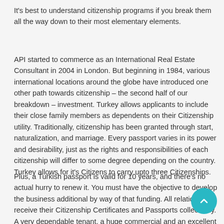It's best to understand citizenship programs if you break them all the way down to their most elementary elements.
API started to commerce as an International Real Estate Consultant in 2004 in London. But beginning in 1984, various international locations around the globe have introduced one other path towards citizenship – the second half of our breakdown – investment. Turkey allows applicants to include their close family members as dependents on their Citizenship utility. Traditionally, citizenship has been granted through start, naturalization, and marriage. Every passport varies in its power and desirability, just as the rights and responsibilities of each citizenship will differ to some degree depending on the country. Turkey allows for it's Citizens to carry upto three Citizenships.
Plus, a Turkish passport is valid for 10 years, and there's no actual hurry to renew it. You must have the objective to develop the business additional by way of that funding. All relations receive their Citizenship Certificates and Passports collectively. A very dependable tenant, a huge commercial and an excellent return on investment with 10 years of rental contract. That was followed by actual property operations and